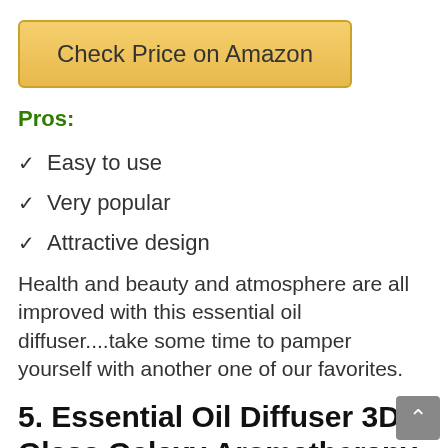[Figure (other): Button styled with gold gradient reading 'Check Price on Amazon']
Pros:
Easy to use
Very popular
Attractive design
Health and beauty and atmosphere are all improved with this essential oil diffuser....take some time to pamper yourself with another one of our favorites.
5. Essential Oil Diffuser 3D Glass Galaxy Aromatherapy 120ml Diffuser Aromatherapy